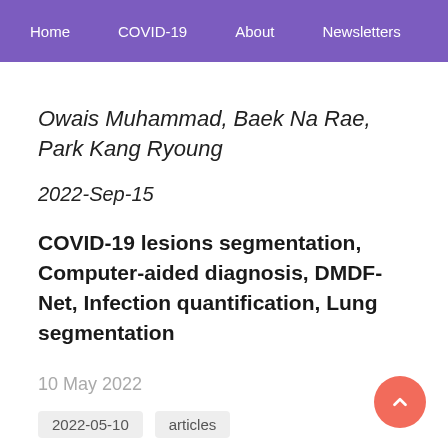Home   COVID-19   About   Newsletters
Owais Muhammad, Baek Na Rae, Park Kang Ryoung
2022-Sep-15
COVID-19 lesions segmentation, Computer-aided diagnosis, DMDF-Net, Infection quantification, Lung segmentation
10 May 2022
2022-05-10   articles